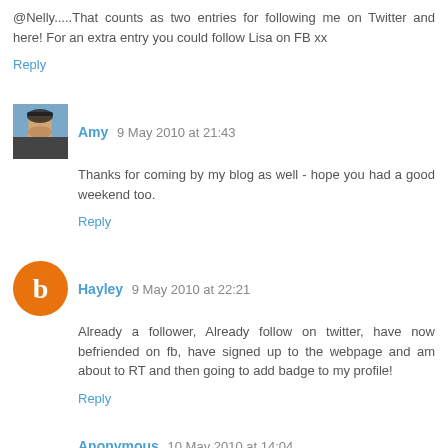@Nelly.....That counts as two entries for following me on Twitter and here! For an extra entry you could follow Lisa on FB xx
Reply
Amy 9 May 2010 at 21:43
Thanks for coming by my blog as well - hope you had a good weekend too.
Reply
Hayley 9 May 2010 at 22:21
Already a follower, Already follow on twitter, have now befriended on fb, have signed up to the webpage and am about to RT and then going to add badge to my profile!
Reply
Anonymous 10 May 2010 at 14:04